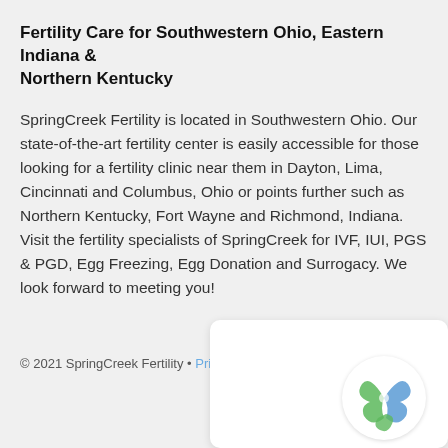Fertility Care for Southwestern Ohio, Eastern Indiana & Northern Kentucky
SpringCreek Fertility is located in Southwestern Ohio. Our state-of-the-art fertility center is easily accessible for those looking for a fertility clinic near them in Dayton, Lima, Cincinnati and Columbus, Ohio or points further such as Northern Kentucky, Fort Wayne and Richmond, Indiana. Visit the fertility specialists of SpringCreek for IVF, IUI, PGS & PGD, Egg Freezing, Egg Donation and Surrogacy. We look forward to meeting you!
© 2021 SpringCreek Fertility • Privacy Policy
[Figure (logo): SpringCreek Fertility logo — stylized green and blue leaf/swirl design on white circular background]